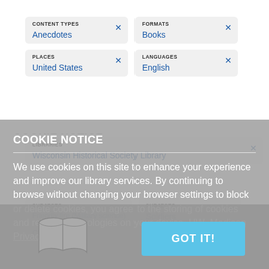CONTENT TYPES
Anecdotes
FORMATS
Books
PLACES
United States
LANGUAGES
English
LIBRARIES
Wisconsin Historical Society Library
SUBJECTS
Friendly fire (Military science)
SUBJECTS
Soldiers
Clear All
COOKIE NOTICE
We use cookies on this site to enhance your experience and improve our library services. By continuing to browse without changing your browser settings to block or delete cookies, you agree to the storing of cookies and related technologies on your device. UW–Madison Privacy Notice
GOT IT!